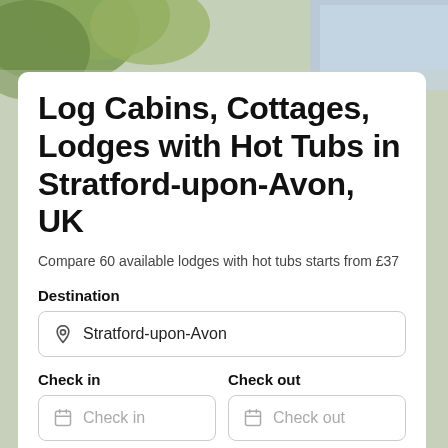[Figure (photo): Background photo of trees and building exterior with natural light]
Log Cabins, Cottages, Lodges with Hot Tubs in Stratford-upon-Avon, UK
Compare 60 available lodges with hot tubs starts from £37
Destination
Stratford-upon-Avon
Check in
Check out
Check in
Check out